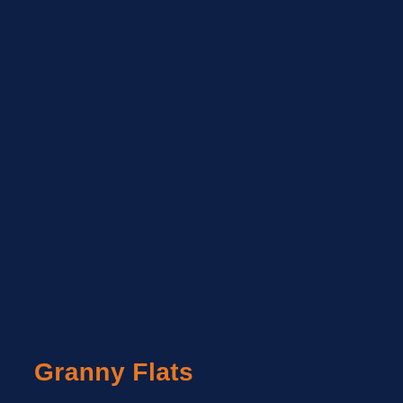[Figure (illustration): Dark navy blue background covering the full page, serving as a cover page background.]
Granny Flats